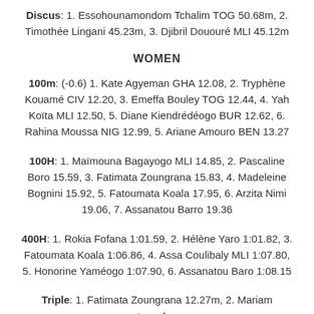Discus: 1. Essohounamondom Tchalim TOG 50.68m, 2. Timothée Lingani 45.23m, 3. Djibril Dououré MLI 45.12m
WOMEN
100m: (-0.6) 1. Kate Agyeman GHA 12.08, 2. Tryphène Kouamé CIV 12.20, 3. Emeffa Bouley TOG 12.44, 4. Yah Koïta MLI 12.50, 5. Diane Kiendrédéogo BUR 12.62, 6. Rahina Moussa NIG 12.99, 5. Ariane Amouro BEN 13.27
100H: 1. Maïmouna Bagayogo MLI 14.85, 2. Pascaline Boro 15.59, 3. Fatimata Zoungrana 15.83, 4. Madeleine Bognini 15.92, 5. Fatoumata Koala 17.95, 6. Arzita Nimi 19.06, 7. Assanatou Barro 19.36
400H: 1. Rokia Fofana 1:01.59, 2. Hélène Yaro 1:01.82, 3. Fatoumata Koala 1:06.86, 4. Assa Coulibaly MLI 1:07.80, 5. Honorine Yaméogo 1:07.90, 6. Assanatou Baro 1:08.15
Triple: 1. Fatimata Zoungrana 12.27m, 2. Mariam Issoufou